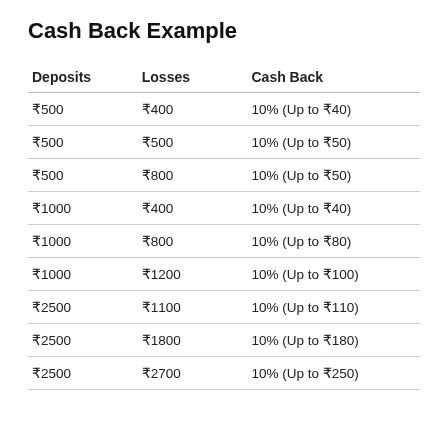Cash Back Example
| Deposits | Losses | Cash Back |
| --- | --- | --- |
| ₹500 | ₹400 | 10% (Up to ₹40) |
| ₹500 | ₹500 | 10% (Up to ₹50) |
| ₹500 | ₹800 | 10% (Up to ₹50) |
| ₹1000 | ₹400 | 10% (Up to ₹40) |
| ₹1000 | ₹800 | 10% (Up to ₹80) |
| ₹1000 | ₹1200 | 10% (Up to ₹100) |
| ₹2500 | ₹1100 | 10% (Up to ₹110) |
| ₹2500 | ₹1800 | 10% (Up to ₹180) |
| ₹2500 | ₹2700 | 10% (Up to ₹250) |